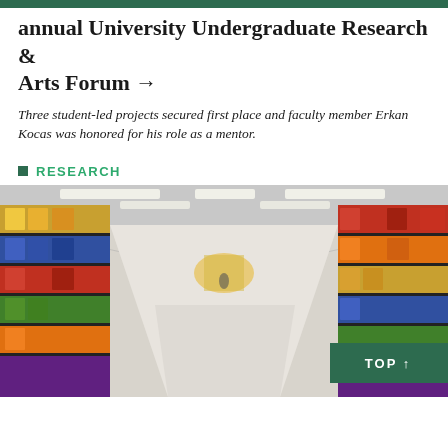annual University Undergraduate Research & Arts Forum →
Three student-led projects secured first place and faculty member Erkan Kocas was honored for his role as a mentor.
RESEARCH
[Figure (photo): Wide-angle photograph of a supermarket aisle with stocked shelves on both sides, fluorescent lighting overhead, and a long corridor perspective leading to a distant vanishing point. A 'TOP ↑' button overlay appears in the bottom-right corner on a dark green background.]